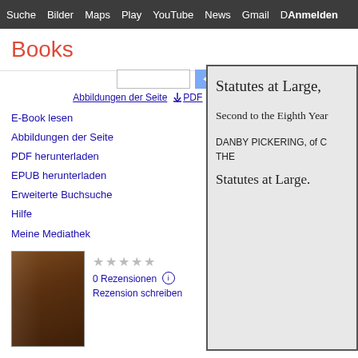Suche Bilder Maps Play YouTube News Gmail Anmelden Mehr
Books
Abbildungen der Seite  PDF  EPUB
E-Book lesen
Abbildungen der Seite
PDF herunterladen
EPUB herunterladen
Erweiterte Buchsuche
Hilfe
Meine Mediathek
0 Rezensionen
Rezension schreiben
Statutes at Large ...: (43 v.) ... From Magna charta to 1800
[Figure (other): Book cover thumbnail, dark brown leather-bound book]
Statutes at Large,

Second to the Eighth Year

DANBY PICKERING, of C
THE

Statutes at Large.